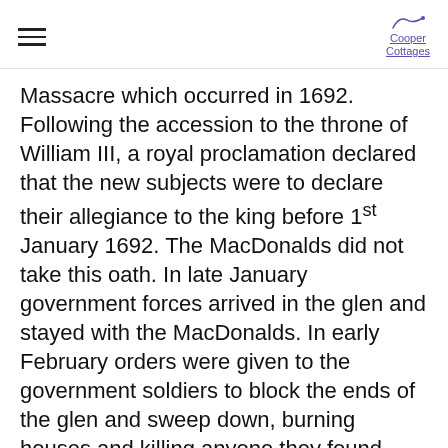Cooper Cottages
Massacre which occurred in 1692. Following the accession to the throne of William III, a royal proclamation declared that the new subjects were to declare their allegiance to the king before 1st January 1692. The MacDonalds did not take this oath. In late January government forces arrived in the glen and stayed with the MacDonalds. In early February orders were given to the government soldiers to block the ends of the glen and sweep down, burning houses and killing anyone they found. Around thirty of Clan MacDonald were killed. The numbers would have been much higher, but the forces who were to block their escape arrived late to their positions, allowing many to escape